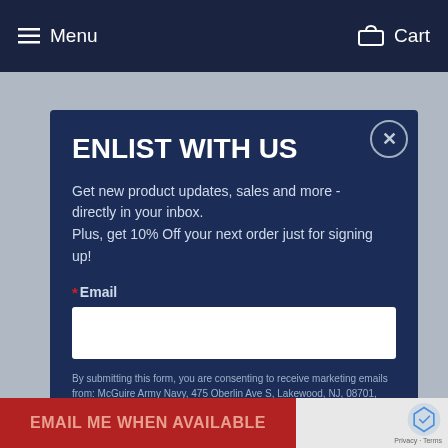Menu   Cart
ENLIST WITH US
Get new product updates, sales and more - directly in your inbox.
Plus, get 10% Off your next order just for signing up!
* Email
By submitting this form, you are consenting to receive marketing emails from: McGuire Army Navy, 475 Oberlin Ave S, Lakewood, NJ, 08701, US, http://www.mcguirearmynavy.com/. You can revoke your consent to
EMAIL ME WHEN AVAILABLE